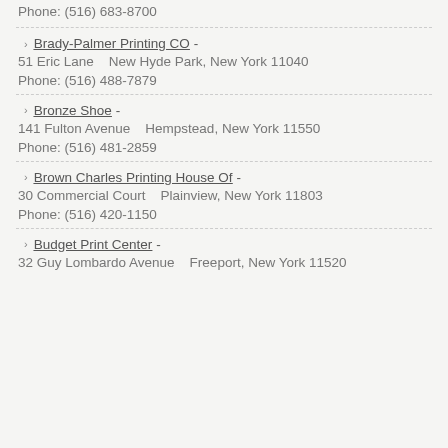Phone: (516) 683-8700
Brady-Palmer Printing CO - 51 Eric Lane   New Hyde Park, New York 11040 Phone: (516) 488-7879
Bronze Shoe - 141 Fulton Avenue   Hempstead, New York 11550 Phone: (516) 481-2859
Brown Charles Printing House Of - 30 Commercial Court   Plainview, New York 11803 Phone: (516) 420-1150
Budget Print Center - 32 Guy Lombardo Avenue   Freeport, New York 11520